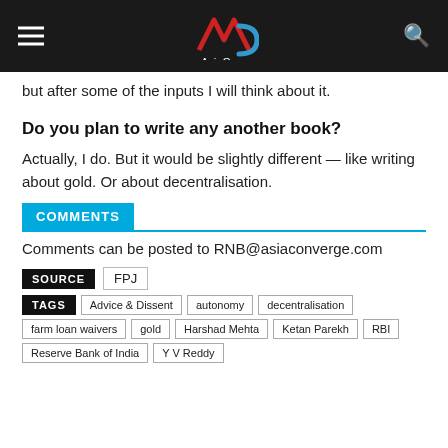AsiaConverge
but after some of the inputs I will think about it.
Do you plan to write any another book?
Actually, I do. But it would be slightly different — like writing about gold. Or about decentralisation.
COMMENTS
Comments can be posted to RNB@asiaconverge.com
SOURCE  FPJ
TAGS  Advice & Dissent  autonomy  decentralisation  farm loan waivers  gold  Harshad Mehta  Ketan Parekh  RBI  Reserve Bank of India  Y V Reddy